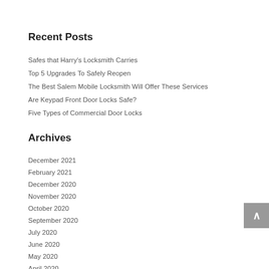Recent Posts
Safes that Harry's Locksmith Carries
Top 5 Upgrades To Safely Reopen
The Best Salem Mobile Locksmith Will Offer These Services
Are Keypad Front Door Locks Safe?
Five Types of Commercial Door Locks
Archives
December 2021
February 2021
December 2020
November 2020
October 2020
September 2020
July 2020
June 2020
May 2020
April 2020